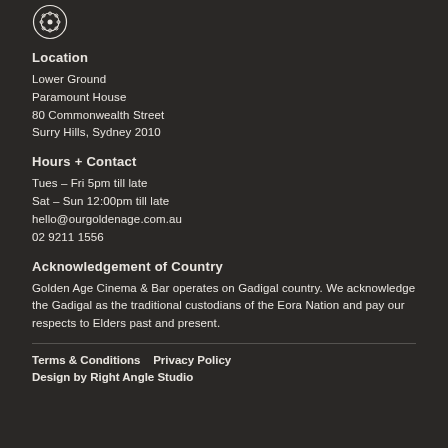[Figure (logo): Circular logo icon with a film reel or camera symbol in outline style, white on dark background]
Location
Lower Ground
Paramount House
80 Commonwealth Street
Surry Hills, Sydney 2010
Hours + Contact
Tues – Fri 5pm till late
Sat – Sun 12:00pm till late
hello@ourgoldenage.com.au
02 9211 1556
Acknowledgement of Country
Golden Age Cinema & Bar operates on Gadigal country. We acknowledge the Gadigal as the traditional custodians of the Eora Nation and pay our respects to Elders past and present.
Terms & Conditions    Privacy Policy
Design by Right Angle Studio